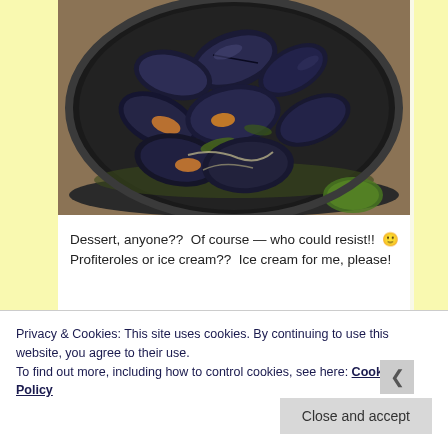[Figure (photo): A bowl of cooked mussels with green herb sauce photographed from above, sitting in a dark round pan on a wooden surface]
Dessert, anyone??  Of course — who could resist!! 🙂
Profiteroles or ice cream??  Ice cream for me, please!
[Figure (photo): Partially visible dessert photos at the bottom of the page, cropped]
Privacy & Cookies: This site uses cookies. By continuing to use this website, you agree to their use.
To find out more, including how to control cookies, see here: Cookie Policy